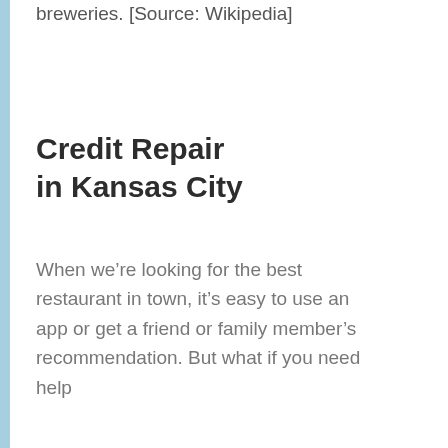breweries. [Source: Wikipedia]
Credit Repair in Kansas City
When we’re looking for the best restaurant in town, it’s easy to use an app or get a friend or family member’s recommendation. But what if you need help